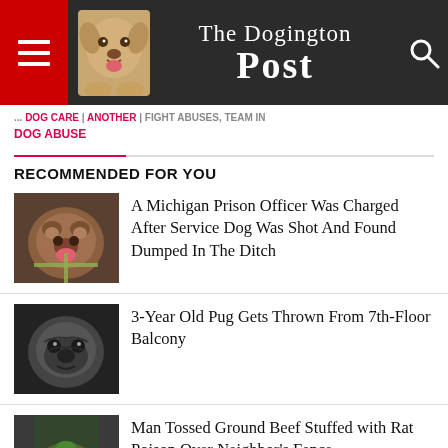The Dogington Post
DOG ABUSE
RECOMMENDED FOR YOU
[Figure (photo): Brown bulldog with open mouth wearing a harness]
A Michigan Prison Officer Was Charged After Service Dog Was Shot And Found Dumped In The Ditch
[Figure (photo): Black pug dog close-up portrait]
3-Year Old Pug Gets Thrown From 7th-Floor Balcony
[Figure (photo): Hand holding ground beef with green item on top]
Man Tossed Ground Beef Stuffed with Rat Poison Over Neighbor's Fence